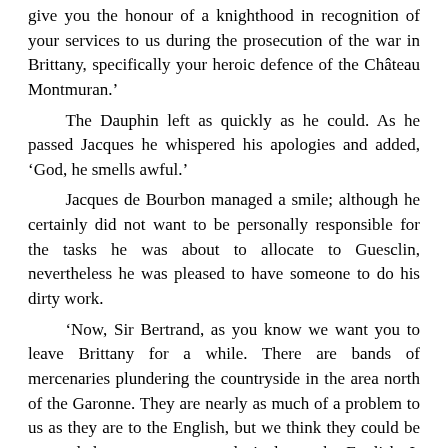give you the honour of a knighthood in recognition of your services to us during the prosecution of the war in Brittany, specifically your heroic defence of the Château Montmuran.’

The Dauphin left as quickly as he could. As he passed Jacques he whispered his apologies and added, ‘God, he smells awful.’

Jacques de Bourbon managed a smile; although he certainly did not want to be personally responsible for the tasks he was about to allocate to Guesclin, nevertheless he was pleased to have someone to do his dirty work.

‘Now, Sir Bertrand, as you know we want you to leave Brittany for a while. There are bands of mercenaries plundering the countryside in the area north of the Garonne. They are nearly as much of a problem to us as they are to the English, but we think they could be persuaded to concentrate exclusively on the English. It will just require a little le[OCCLUSION]hip; there will be no need to change the way they work[OCCLUSION]the targets they choose. Any profit you gain from this activity will be yours to keep.’